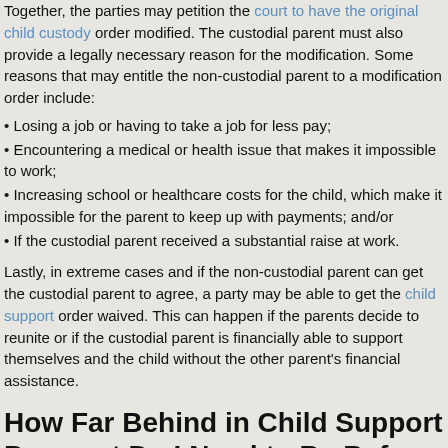Together, the parties may petition the court to have the original child custody order modified. The custodial parent must also provide a legally necessary reason for the modification. Some reasons that may entitle the non-custodial parent to a modification order include:
• Losing a job or having to take a job for less pay;
• Encountering a medical or health issue that makes it impossible to work;
• Increasing school or healthcare costs for the child, which make it impossible for the parent to keep up with payments; and/or
• If the custodial parent received a substantial raise at work.
Lastly, in extreme cases and if the non-custodial parent can get the custodial parent to agree, a party may be able to get the child support order waived. This can happen if the parents decide to reunite or if the custodial parent is financially able to support themselves and the child without the other parent's financial assistance.
How Far Behind in Child Support Payment Do I Need to Be Before a Warrant Is Issued?